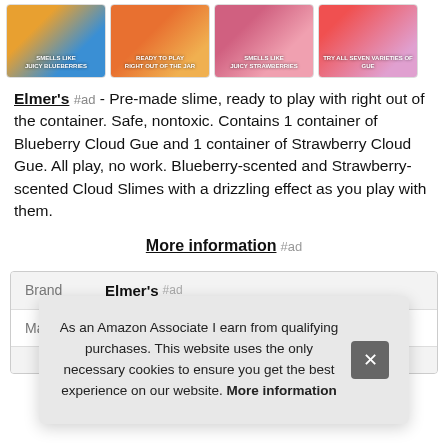[Figure (photo): Four product thumbnail images in a row: blueberry slime (blue/orange), ready to play slime (orange), strawberry slime (pink/red), and variety pack (colorful). Each has a text label overlay.]
Elmer's #ad - Pre-made slime, ready to play with right out of the container. Safe, nontoxic. Contains 1 container of Blueberry Cloud Gue and 1 container of Strawberry Cloud Gue. All play, no work. Blueberry-scented and Strawberry-scented Cloud Slimes with a drizzling effect as you play with them.
More information #ad
| Brand | Elmer's #ad |
| --- | --- |
| Ma |  |
As an Amazon Associate I earn from qualifying purchases. This website uses the only necessary cookies to ensure you get the best experience on our website. More information